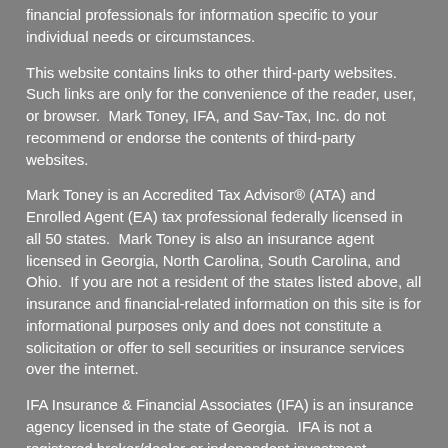financial professionals for information specific to your individual needs or circumstances.
This website contains links to other third-party websites. Such links are only for the convenience of the reader, user, or browser.  Mark Toney, IFA, and Sav-Tax, Inc. do not recommend or endorse the contents of third-party websites.
Mark Toney is an Accredited Tax Advisor® (ATA) and Enrolled Agent (EA) tax professional federally licensed in all 50 states.  Mark Toney is also an insurance agent licensed in Georgia, North Carolina, South Carolina, and Ohio.  If you are not a resident of the states listed above, all insurance and financial-related information on this site is for informational purposes only and does not constitute a solicitation or offer to sell securities or insurance services over the internet.
IFA Insurance & Financial Associates (IFA) is an insurance agency licensed in the state of Georgia.  IFA is not a registered broker/dealer or independent investment advisory firm.
Some of this material was written and prepared by Broadridge